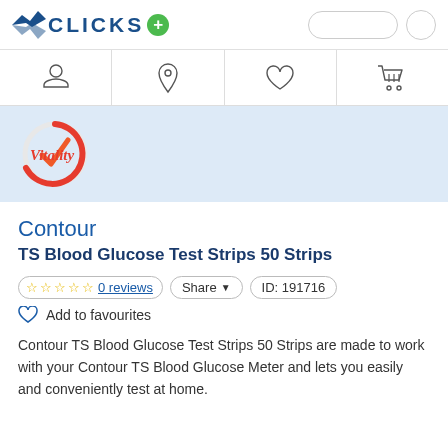CLICKS
[Figure (logo): Vitality logo with orange/red circular arrow and checkmark]
Contour
TS Blood Glucose Test Strips 50 Strips
☆☆☆☆☆ 0 reviews  Share  ID: 191716
Add to favourites
Contour TS Blood Glucose Test Strips 50 Strips are made to work with your Contour TS Blood Glucose Meter and lets you easily and conveniently test at home.